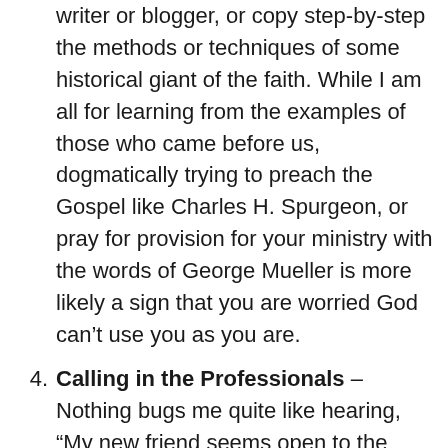writer or blogger, or copy step-by-step the methods or techniques of some historical giant of the faith. While I am all for learning from the examples of those who came before us, dogmatically trying to preach the Gospel like Charles H. Spurgeon, or pray for provision for your ministry with the words of George Mueller is more likely a sign that you are worried God can’t use you as you are.
Calling in the Professionals – Nothing bugs me quite like hearing, “My new friend seems open to the Gospel so I invited then to church this Sunday. Is there going to be a salvation message?” “No, Sister Sally, this week we will be sharing muffin recipes – maybe you